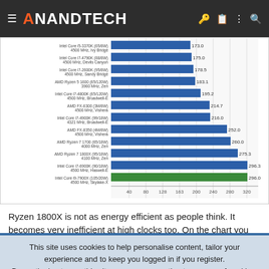AnandTech
[Figure (bar-chart): CPU Power Draw Comparison]
Ryzen 1800X is not as energy efficient as people think. It becomes very inefficient at high clocks too. On the chart you can see the power draw of various CPUs. At least according to that chart Ryzen
This site uses cookies to help personalise content, tailor your experience and to keep you logged in if you register.
By continuing to use this site, you are consenting to our use of cookies.